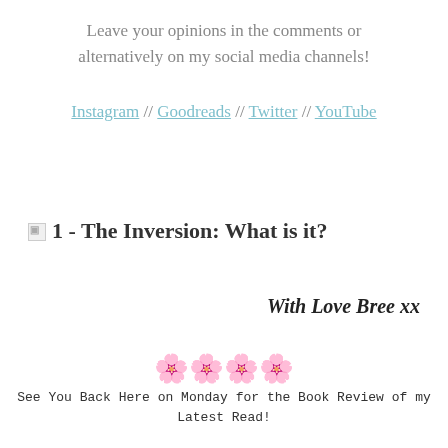Leave your opinions in the comments or alternatively on my social media channels!
Instagram // Goodreads // Twitter // YouTube
1 - The Inversion: What is it?
With Love Bree xx
[Figure (illustration): Four flower emoji decorations]
See You Back Here on Monday for the Book Review of my Latest Read!